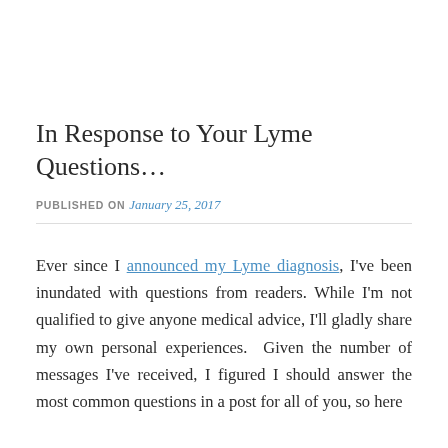In Response to Your Lyme Questions…
PUBLISHED ON January 25, 2017
Ever since I announced my Lyme diagnosis, I've been inundated with questions from readers. While I'm not qualified to give anyone medical advice, I'll gladly share my own personal experiences.  Given the number of messages I've received, I figured I should answer the most common questions in a post for all of you, so here